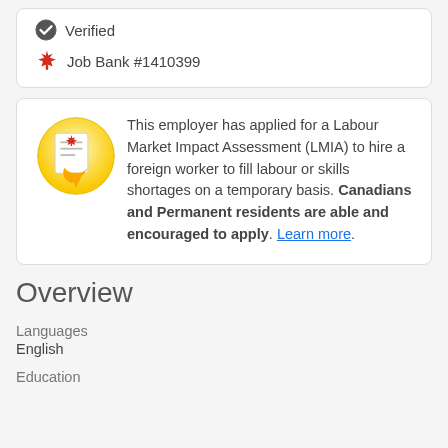[Figure (other): Verified checkmark icon with text 'Verified' and Canadian maple leaf icon with text 'Job Bank #1410399']
Verified
Job Bank #1410399
[Figure (other): LMIA circular icon with Canadian maple leaf and yellow arrow]
This employer has applied for a Labour Market Impact Assessment (LMIA) to hire a foreign worker to fill labour or skills shortages on a temporary basis. Canadians and Permanent residents are able and encouraged to apply. Learn more.
Overview
Languages
English
Education